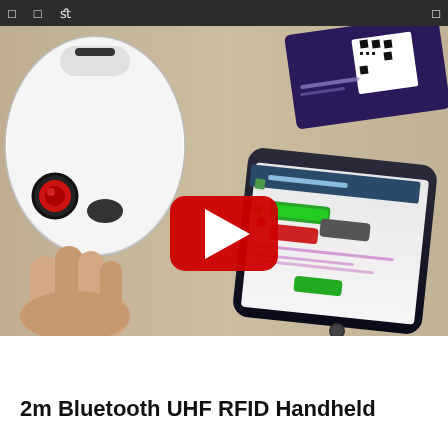navigation icons
[Figure (screenshot): Video thumbnail showing a white Bluetooth UHF RFID handheld scanner device held by a hand, with a smartphone displaying an RFID application (VHTSDemo V1.0.18) on screen, and a dark RFID card with QR code in background. A YouTube play button overlay is shown in the center. The bottom portion of the video player is black.]
2m Bluetooth UHF RFID Handheld